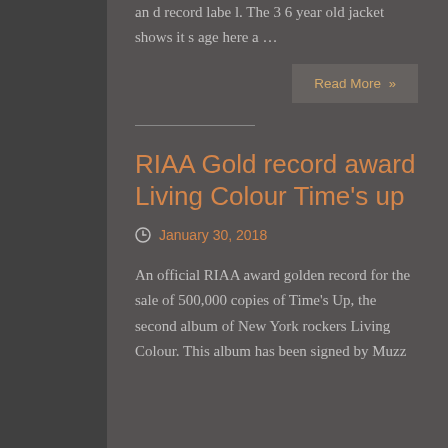and record label. The 36 year old jacket shows it s age here a …
Read More »
RIAA Gold record award Living Colour Time's up
January 30, 2018
An official RIAA award golden record for the sale of 500,000 copies of Time's Up, the second album of New York rockers Living Colour. This album has been signed by Muzz